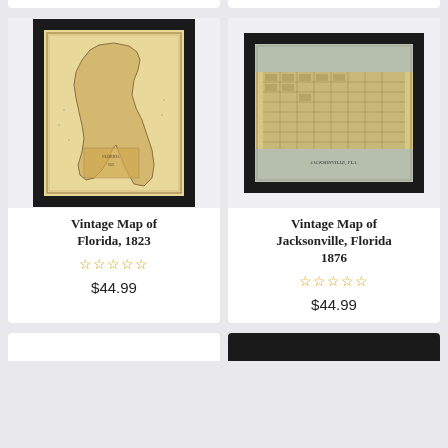[Figure (photo): Vintage Map of Florida 1823 print in black frame with cream mat, aerial/cartographic view]
Vintage Map of Florida, 1823
☆☆☆☆☆
$44.99
[Figure (photo): Vintage Map of Jacksonville, Florida 1876 bird's-eye view print in black frame]
Vintage Map of Jacksonville, Florida 1876
☆☆☆☆☆
$44.99